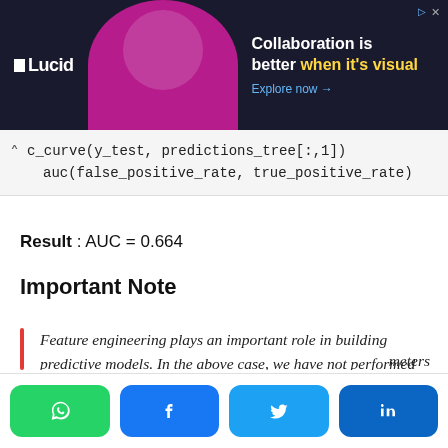[Figure (screenshot): Lucid advertisement banner with dark background, logo, illustration of a person, and text 'Collaboration is better when it's visual. Explore now →']
Result : AUC = 0.664
Important Note
Feature engineering plays an important role in building predictive models. In the above case, we have not performed variable selection.
...meters ...ng